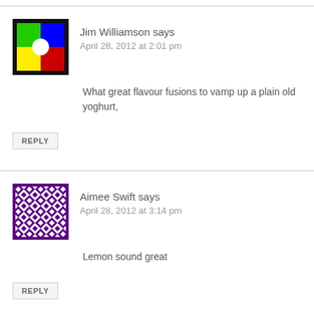[Figure (illustration): Colorful avatar icon with quadrant colors: green top-left, blue top-right, yellow bottom-left, red bottom-right, white center circle, black border]
Jim Williamson says
April 28, 2012 at 2:01 pm
What great flavour fusions to vamp up a plain old yoghurt,
REPLY
[Figure (illustration): Purple/white geometric pattern avatar with diamond/checker pattern]
Aimee Swift says
April 28, 2012 at 3:14 pm
Lemon sound great
REPLY